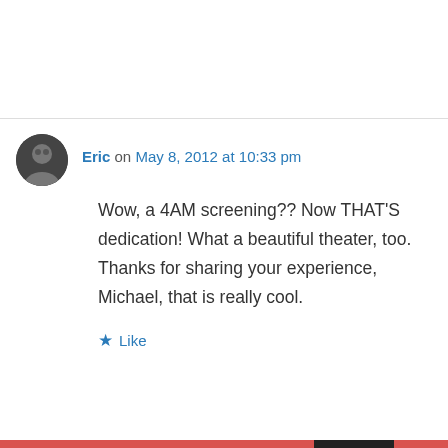[Figure (photo): Circular avatar photo of user Eric, grayscale portrait]
Eric on May 8, 2012 at 10:33 pm
Wow, a 4AM screening?? Now THAT'S dedication! What a beautiful theater, too. Thanks for sharing your experience, Michael, that is really cool.
★ Like
↪ Reply
Privacy & Cookies: This site uses cookies. By continuing to use this website, you agree to their use.
To find out more, including how to control cookies, see here: Cookie Policy
Close and accept